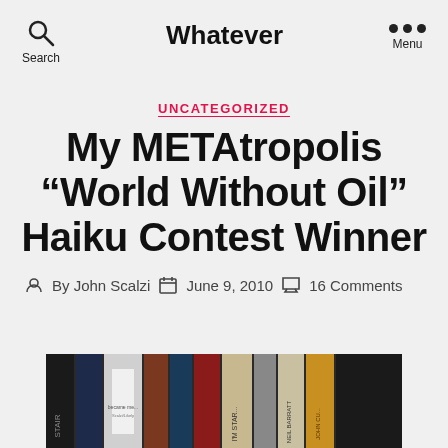Whatever
UNCATEGORIZED
My METAtropolis “World Without Oil” Haiku Contest Winner
By John Scalzi   June 9, 2010   16 Comments
[Figure (photo): A shelf of books photographed from the side showing their spines, with a white card/note visible among them]